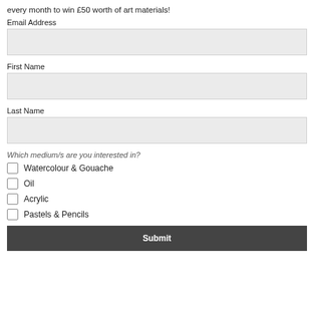every month to win £50 worth of art materials!
Email Address
First Name
Last Name
Which medium/s are you interested in?
Watercolour & Gouache
Oil
Acrylic
Pastels & Pencils
Submit